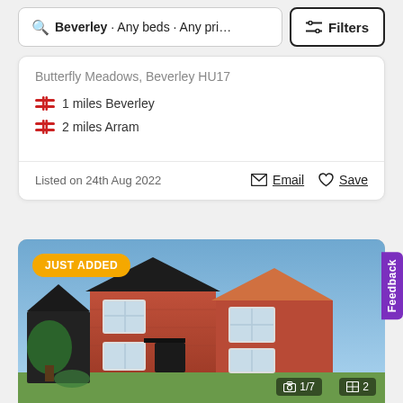Beverley · Any beds · Any pri...
Filters
Butterfly Meadows, Beverley HU17
1 miles Beverley
2 miles Arram
Listed on 24th Aug 2022
Email
Save
[Figure (photo): Exterior photo of a red brick two-storey house with dark roof, white windows, and a dark front door canopy. Badge says JUST ADDED. Photo counter shows 1/7 and floor plan icon shows 2.]